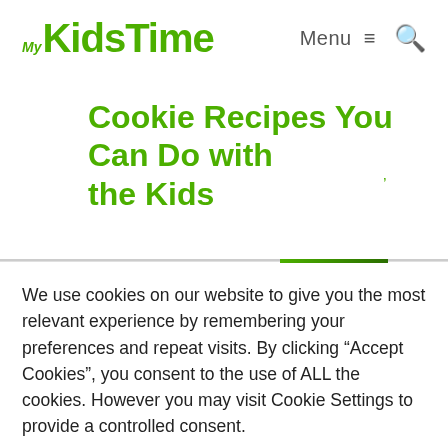MyKidsTime — Menu (hamburger icon) — Search (icon)
Cookie Recipes You Can Do with the Kids
We use cookies on our website to give you the most relevant experience by remembering your preferences and repeat visits. By clicking “Accept Cookies”, you consent to the use of ALL the cookies. However you may visit Cookie Settings to provide a controlled consent.
Cookie settings
ACCEPT COOKIES